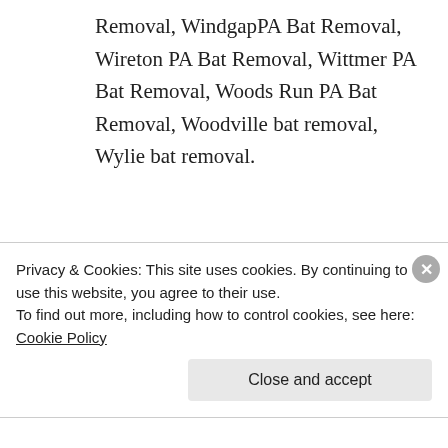Removal, WindgapPA Bat Removal, Wireton PA Bat Removal, Wittmer PA Bat Removal, Woods Run PA Bat Removal, Woodville bat removal, Wylie bat removal.
Privacy & Cookies: This site uses cookies. By continuing to use this website, you agree to their use.
To find out more, including how to control cookies, see here: Cookie Policy
Close and accept